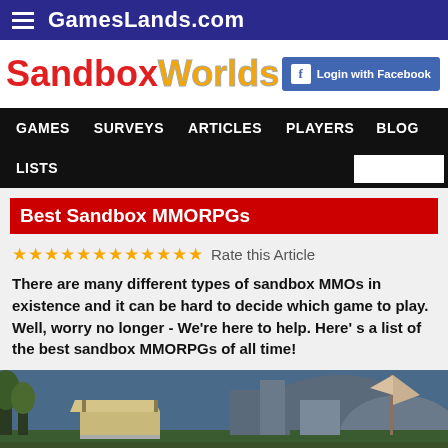GamesLands.com
[Figure (logo): SandboxWorlds logo in red and yellow/gold text]
Login with Facebook
GAMES  SURVEYS  ARTICLES  PLAYERS  BLOG  LISTS
Best Sandbox MMORPGs
Rate this Article
There are many different types of sandbox MMOs in existence and it can be hard to decide which game to play. Well, worry no longer - We're here to help. Here's a list of the best sandbox MMORPGs of all time!
[Figure (screenshot): Screenshot of a sandbox MMORPG game showing an outdoor scene with pavilion structures, trees, buildings and water]